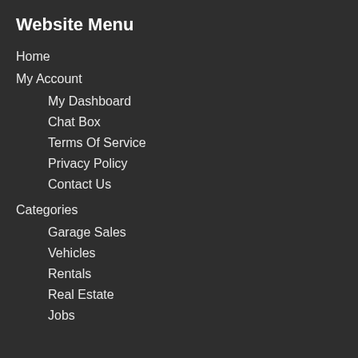Website Menu
Home
My Account
My Dashboard
Chat Box
Terms Of Service
Privacy Policy
Contact Us
Categories
Garage Sales
Vehicles
Rentals
Real Estate
Jobs